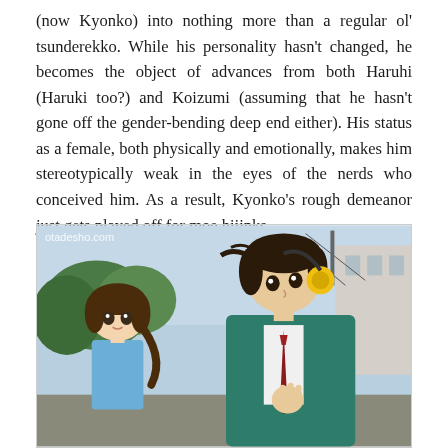(now Kyonko) into nothing more than a regular ol' tsunderekko. While his personality hasn't changed, he becomes the object of advances from both Haruhi (Haruki too?) and Koizumi (assuming that he hasn't gone off the gender-bending deep end either). His status as a female, both physically and emotionally, makes him stereotypically weak in the eyes of the nerds who conceived him. As a result, Kyonko's rough demeanor just gets played off for moe hijinks.
[Figure (photo): Anime image showing two characters: a shorter girl with brown hair and blue outfit on the left, and a taller male character with dark hair and yellow headphones wearing a teal blazer on the right, pulling at his red tie. Watermark reads otadesho.com.]